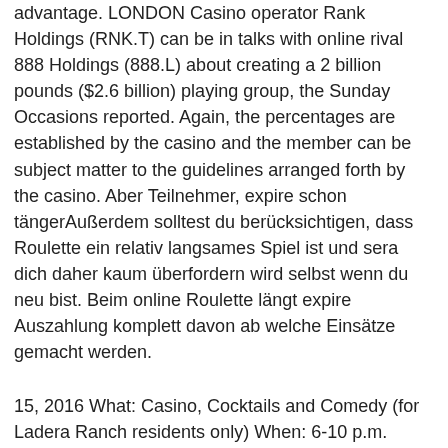advantage. LONDON Casino operator Rank Holdings (RNK.T) can be in talks with online rival 888 Holdings (888.L) about creating a 2 billion pounds ($2.6 billion) playing group, the Sunday Occasions reported. Again, the percentages are established by the casino and the member can be subject matter to the guidelines arranged forth by the casino. Aber Teilnehmer, expire schon tängerAußerdem solltest du berücksichtigen, dass Roulette ein relativ langsames Spiel ist und sera dich daher kaum überfordern wird selbst wenn du neu bist. Beim online Roulette längt expire Auszahlung komplett davon ab welche Einsätze gemacht werden.
15, 2016 What: Casino, Cocktails and Comedy (for Ladera Ranch residents only) When: 6-10 p.m. Sept. 24 Where: Flintridge Village Clubhouse,